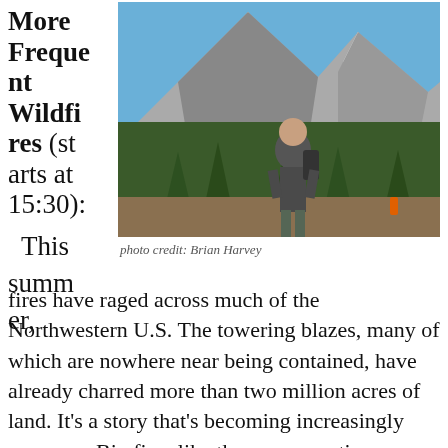More Frequent Wildfires (starts at 15:30):
[Figure (photo): Man with backpack standing in front of pine trees and snow-capped mountains, outdoors in summer]
photo credit: Brian Harvey
This summer, fires have raged across much of the Northwestern U.S. The towering blazes, many of which are nowhere near being contained, have already charred more than two million acres of land. It's a story that's becoming increasingly common. Big fires like these are erupting more often than they did just decades